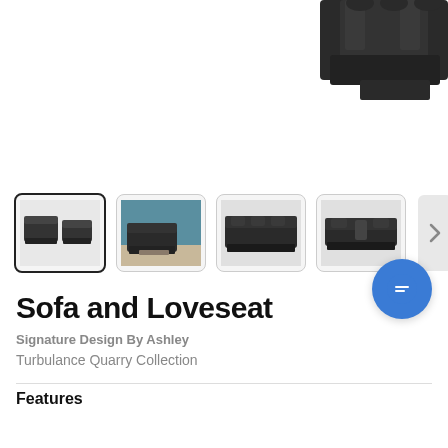[Figure (photo): Partial view of a dark charcoal leather reclining sofa set from above, cropped at top of page]
[Figure (photo): Thumbnail 1 (selected): Dark leather sofa and loveseat set, two pieces shown]
[Figure (photo): Thumbnail 2: Living room scene with dark leather sofa set on patterned rug with teal wall]
[Figure (photo): Thumbnail 3: Front view of dark leather reclining sofa]
[Figure (photo): Thumbnail 4: Dark leather reclining loveseat with console]
Sofa and Loveseat
Signature Design By Ashley
Turbulance Quarry Collection
Features